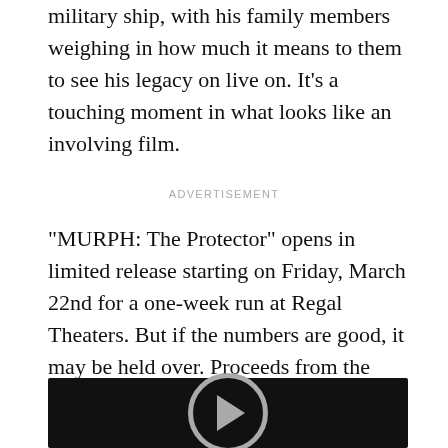military ship, with his family members weighing in how much it means to them to see his legacy on live on. It's a touching moment in what looks like an involving film.
ADVERTISEMENT
“MURPH: The Protector” opens in limited release starting on Friday, March 22nd for a one-week run at Regal Theaters. But if the numbers are good, it may be held over. Proceeds from the film will go to the Lt. Michael P. Murphy Memorial Scholarship Foundation. Watch below.
[Figure (other): Black video player with a circular gray play button in the center]